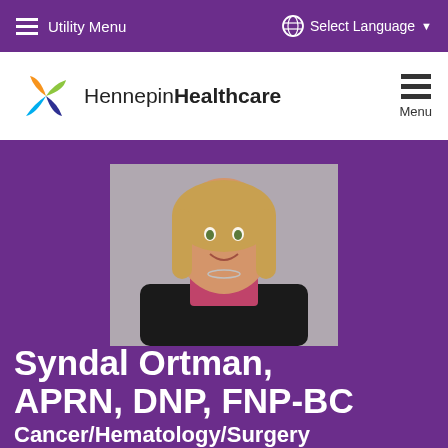Utility Menu | Select Language
[Figure (logo): Hennepin Healthcare logo with colorful pinwheel icon and wordmark 'HennepinHealthcare']
[Figure (photo): Professional headshot of Syndal Ortman, a woman with blonde hair, wearing a black jacket and pink blouse with a necklace, smiling, against a grey background]
Syndal Ortman, APRN, DNP, FNP-BC
Cancer/Hematology/Surgery